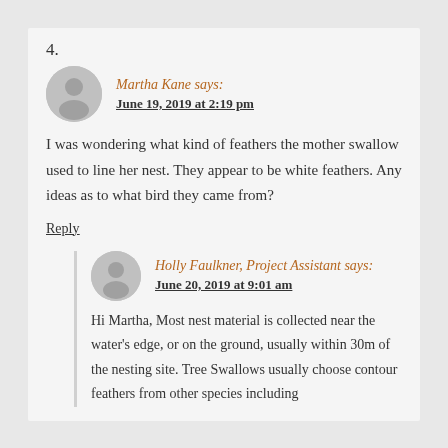4.
Martha Kane says:
June 19, 2019 at 2:19 pm
I was wondering what kind of feathers the mother swallow used to line her nest. They appear to be white feathers. Any ideas as to what bird they came from?
Reply
Holly Faulkner, Project Assistant says:
June 20, 2019 at 9:01 am
Hi Martha, Most nest material is collected near the water's edge, or on the ground, usually within 30m of the nesting site. Tree Swallows usually choose contour feathers from other species including